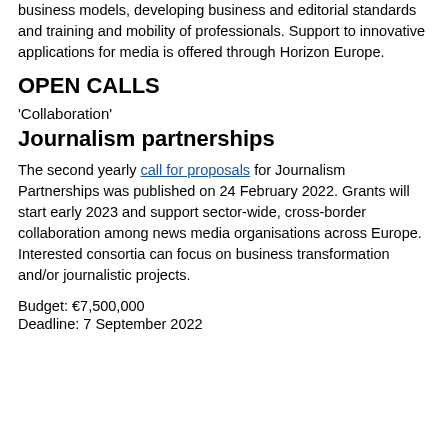business models, developing business and editorial standards and training and mobility of professionals. Support to innovative applications for media is offered through Horizon Europe.
OPEN CALLS
'Collaboration'
Journalism partnerships
The second yearly call for proposals for Journalism Partnerships was published on 24 February 2022. Grants will start early 2023 and support sector-wide, cross-border collaboration among news media organisations across Europe. Interested consortia can focus on business transformation and/or journalistic projects.
Budget: €7,500,000
Deadline: 7 September 2022